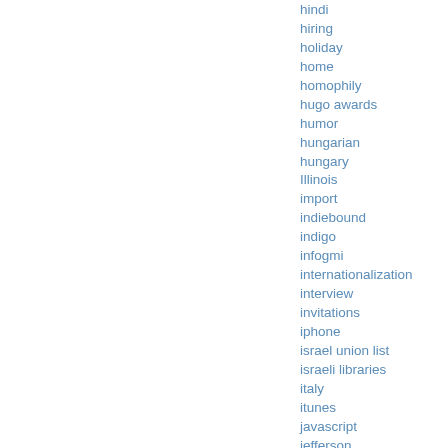hindi
hiring
holiday
home
homophily
hugo awards
humor
hungarian
hungary
Illinois
import
indiebound
indigo
infogmi
internationalization
interview
invitations
iphone
israel union list
israeli libraries
italy
itunes
javascript
jefferson
jeremy dibbell
jobs
john adams
john dalton
json
killer whales
kindle
la